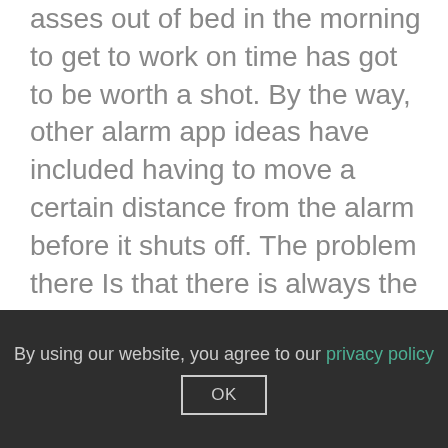anything that ensures that we drag our sorry asses out of bed in the morning to get to work on time has got to be worth a shot. By the way, other alarm app ideas have included having to move a certain distance from the alarm before it shuts off. The problem there Is that there is always the temptation to throw the alarm out the window. Then there was the song challenge for the music fan where the artist, title and album of the song had to be identified before the alarm stopped. Let's face it, this alarm clock app that delivers the time, the weather and a question to wake you up,  is an hilarious addition to the weird and
By using our website, you agree to our privacy policy
OK